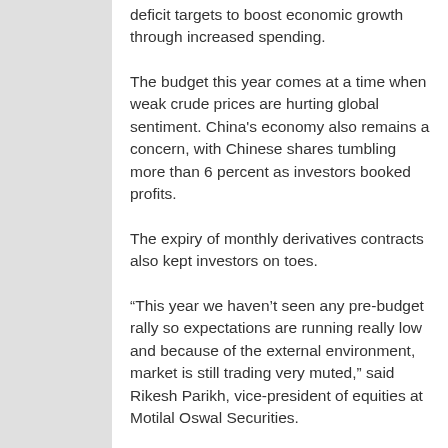deficit targets to boost economic growth through increased spending.
The budget this year comes at a time when weak crude prices are hurting global sentiment. China's economy also remains a concern, with Chinese shares tumbling more than 6 percent as investors booked profits.
The expiry of monthly derivatives contracts also kept investors on toes.
“This year we haven’t seen any pre-budget rally so expectations are running really low and because of the external environment, market is still trading very muted,” said Rikesh Parikh, vice-president of equities at Motilal Oswal Securities.
The broader NSE Nifty was 0.22 per cent